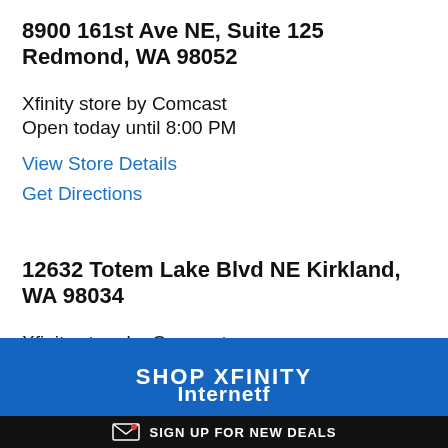8900 161st Ave NE, Suite 125 Redmond, WA 98052
Xfinity store by Comcast
Open today until 8:00 PM
View Store Details
Get Directions
12632 Totem Lake Blvd NE Kirkland, WA 98034
Xfinity store by Comcast
Open today until 8:00 PM
View Store Details
Get Directions
SHOP XFINITY
SIGN UP FOR NEW DEALS